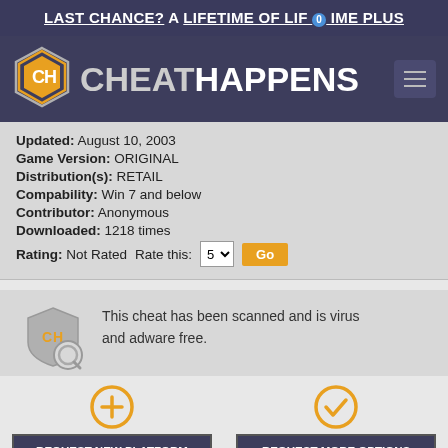LAST CHANCE? A LIFETIME OF LIFETIME PLUS
[Figure (logo): CheatHappens logo with hexagonal CH emblem and site name]
Updated: August 10, 2003
Game Version: ORIGINAL
Distribution(s): RETAIL
Compability: Win 7 and below
Contributor: Anonymous
Downloaded: 1218 times
Rating: Not Rated   Rate this: 5  Go
[Figure (logo): CheatHappens shield/magnifier security scan icon]
This cheat has been scanned and is virus and adware free.
REQUEST NEW PLATFORM
ie: Epic, Game Pass, etc
REQUEST MORE OPTIONS
Requests not available